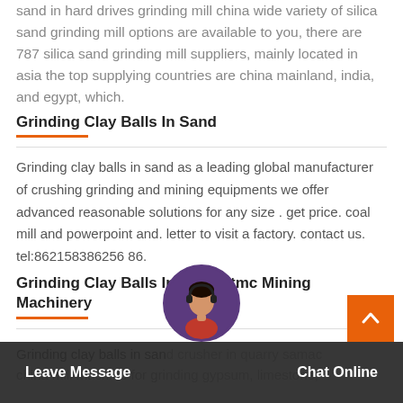sand in hard drives grinding mill china wide variety of silica sand grinding mill options are available to you, there are 787 silica sand grinding mill suppliers, mainly located in asia the top supplying countries are china mainland, india, and egypt, which.
Grinding Clay Balls In Sand
Grinding clay balls in sand as a leading global manufacturer of crushing grinding and mining equipments we offer advanced reasonable solutions for any size . get price. coal mill and powerpoint and. letter to visit a factory. contact us. tel:862158386256 86.
Grinding Clay Balls In Sand Ftmc Mining Machinery
Grinding clay balls in sand crusher in quarry samac china mill machine for grinding gypsum, limestone,
Leave Message   Chat Online